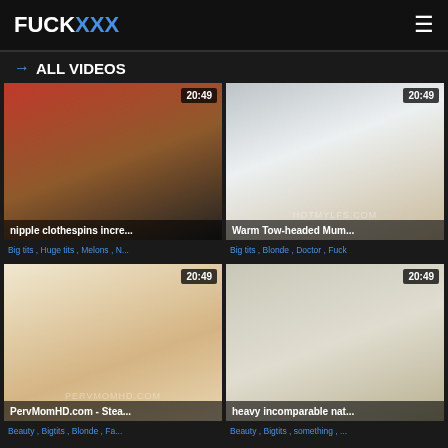FUCKXXX
→ ALL VIDEOS
[Figure (screenshot): Video thumbnail - nipple clothespins incre... with duration 20:49]
Big tits , Huge tits , Melons , N...
[Figure (screenshot): Video thumbnail - Warm Tow-headed Mum... with duration 20:49]
Big tits , Blonde , Doctor , Fuck
[Figure (screenshot): Video thumbnail - PervMomHD.com - Stea... with duration 20:49]
Beauty , Bigtits , Blonde , Fa...
[Figure (screenshot): Video thumbnail - heavy incomparable nat... with duration 20:49]
Beauty , Bigtits , something , ...